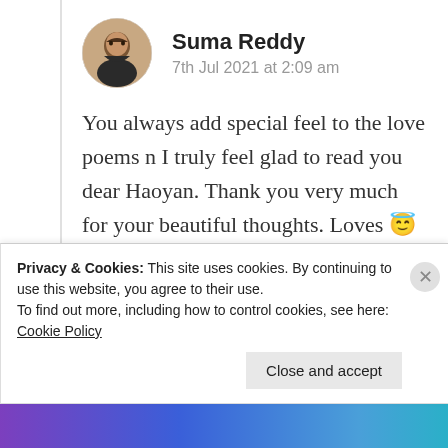[Figure (photo): Circular avatar photo of Suma Reddy]
Suma Reddy
7th Jul 2021 at 2:09 am
You always add special feel to the love poems n I truly feel glad to read you dear Haoyan. Thank you very much for your beautiful thoughts. Loves 😇 ❤️
★ Like
Privacy & Cookies: This site uses cookies. By continuing to use this website, you agree to their use.
To find out more, including how to control cookies, see here: Cookie Policy
Close and accept